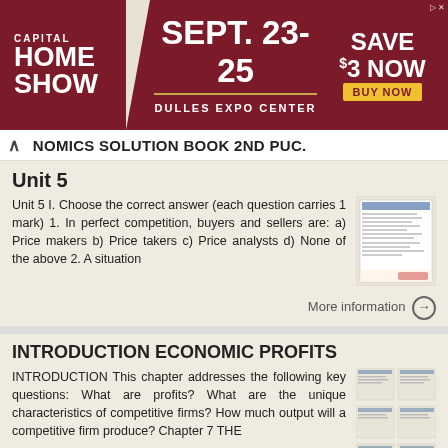[Figure (other): Advertisement banner for Capital Home Show, Sept. 23-25, Dulles Expo Center, Save $3 Now, Buy Now button]
ONOMICS SOLUTION BOOK 2ND PUC.
Unit 5
Unit 5 I. Choose the correct answer (each question carries 1 mark) 1. In perfect competition, buyers and sellers are: a) Price makers b) Price takers c) Price analysts d) None of the above 2. A situation
More information →
INTRODUCTION ECONOMIC PROFITS
INTRODUCTION This chapter addresses the following key questions: What are profits? What are the unique characteristics of competitive firms? How much output will a competitive firm produce? Chapter 7 THE